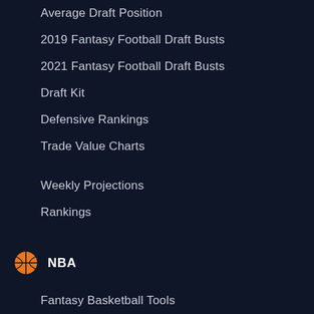Average Draft Position
2019 Fantasy Football Draft Busts
2021 Fantasy Football Draft Busts
Draft Kit
Defensive Rankings
Trade Value Charts
Weekly Projections
Rankings
NBA
Fantasy Basketball Tools
Trade Analyzer
Start/Sit Tool
Rate My Team
Fantasy Basketball Assistant
Fantasy Basketball Draft Assistant